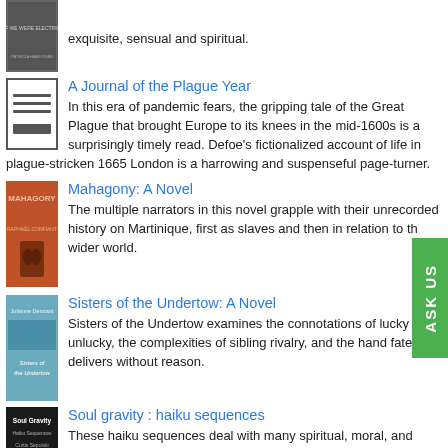exquisite, sensual and spiritual.
A Journal of the Plague Year
In this era of pandemic fears, the gripping tale of the Great Plague that brought Europe to its knees in the mid-1600s is a surprisingly timely read. Defoe's fictionalized account of life in plague-stricken 1665 London is a harrowing and suspenseful page-turner.
Mahagony: A Novel
The multiple narrators in this novel grapple with their unrecorded history on Martinique, first as slaves and then in relation to the wider world.
Sisters of the Undertow: A Novel
Sisters of the Undertow examines the connotations of lucky and unlucky, the complexities of sibling rivalry, and the hand fate delivers without reason.
Soul gravity : haiku sequences
These haiku sequences deal with many spiritual, moral, and realistic problems of contemporary humans and seek to develop the nature of haiku poetry itself.